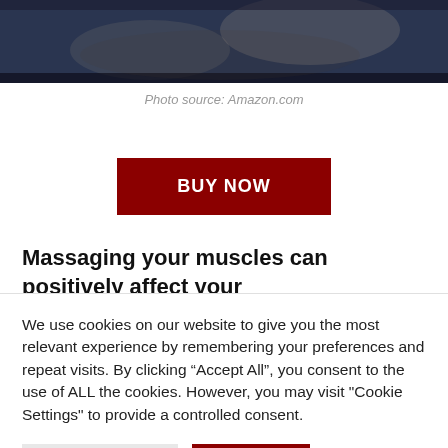[Figure (photo): Photo of people on a dark couch/bed, person holding a tablet or device, dark blue/gray tones]
Photo source: Amazon.com
BUY NOW
Massaging your muscles can positively affect your
We use cookies on our website to give you the most relevant experience by remembering your preferences and repeat visits. By clicking “Accept All”, you consent to the use of ALL the cookies. However, you may visit "Cookie Settings" to provide a controlled consent.
Cookie Settings
Accept All